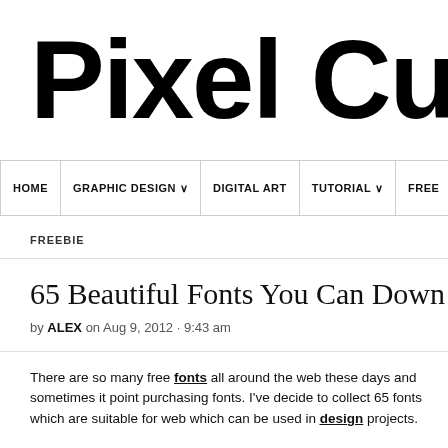[Figure (logo): Pixel Cu... logo in large bold black rounded font, cropped at right edge]
HOME | GRAPHIC DESIGN ∨ | DIGITAL ART | TUTORIAL ∨ | FREE...
FREEBIE
65 Beautiful Fonts You Can Down...
by ALEX on Aug 9, 2012 · 9:43 am
There are so many free fonts all around the web these days and sometimes it point purchasing fonts. I've decide to collect 65 fonts which are suitable for web which can be used in design projects.